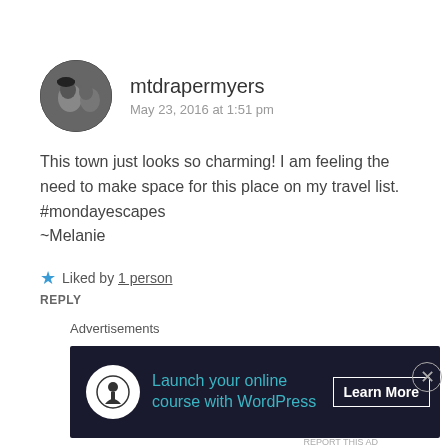mtdrapermyers
May 23, 2016 at 1:51 pm
This town just looks so charming! I am feeling the need to make space for this place on my travel list.
#mondayescapes
~Melanie
★ Liked by 1 person
REPLY
Advertisements
[Figure (screenshot): WordPress advertisement banner: 'Launch your online course with WordPress' with a Learn More button on dark background]